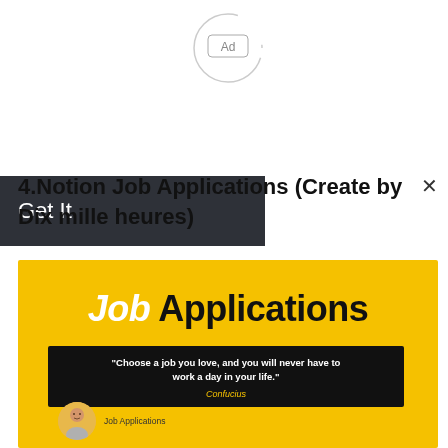[Figure (screenshot): Ad loading indicator — a partial circle outline with an 'Ad' badge label in the center, indicating an advertisement placeholder.]
[Figure (screenshot): Dark banner with 'Get It' text on left side, with an X close button on the right.]
4.Notion Job Applications (Create by Dix mille heures)
[Figure (screenshot): Yellow-background promotional image for 'Job Applications' Notion template. Large text reads 'Job Applications' in white italic and bold black. Below is a dark quote box reading: "Choose a job you love, and you will never have to work a day in your life." attributed to Confucius in yellow italic. An avatar icon and 'Job Applications' label appear at the bottom left.]